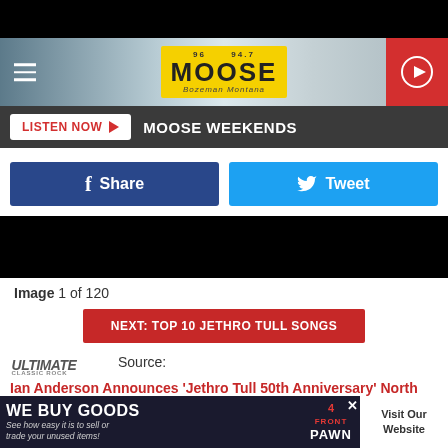[Figure (screenshot): Top black navigation bar]
[Figure (logo): THE MOOSE 94.7 Bozeman Montana radio station logo with yellow background and moose graphic, with hamburger menu on left and red play button on right]
[Figure (screenshot): Dark grey bar with LISTEN NOW button and MOOSE WEEKENDS text]
[Figure (screenshot): Facebook Share and Twitter Tweet buttons]
[Figure (screenshot): Black video placeholder area]
Image 1 of 120
[Figure (screenshot): Red button: NEXT: TOP 10 JETHRO TULL SONGS]
Source: Ian Anderson Announces 'Jethro Tull 50th Anniversary' North American Tour
[Figure (screenshot): WE BUY GOODS advertisement banner - See how easy it is to sell or trade your unused items! - 4 FRONT PAWN - Visit Our Website]